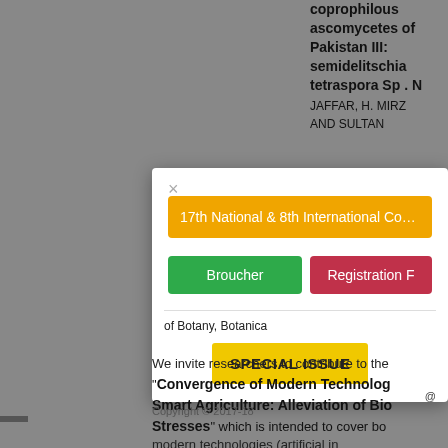coprophilous ascomycetes of Pakistan III: semidelitschia tetraspora Sp . N
JAFFAR, H. MIRZA AND SULTAN
of Botany, Botanica
3809006, Today's:
17th National & 8th International Conference
Broucher
Registration F
SPECIAL ISSUE
We invite researchers to contribute to the "Convergence of Modern Technologies Smart Agriculture: Alleviation of Biotic Stresses" which is intended to cover both modern technologies (artificial in
Copyright © 2017-18